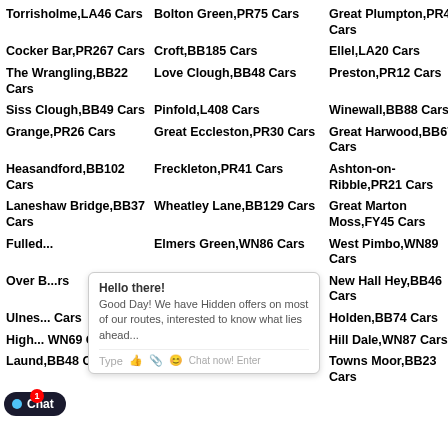Torrisholme,LA46 Cars
Bolton Green,PR75 Cars
Great Plumpton,PR43 Cars
Cocker Bar,PR267 Cars
Croft,BB185 Cars
Ellel,LA20 Cars
The Wrangling,BB22 Cars
Love Clough,BB48 Cars
Preston,PR12 Cars
Siss Clough,BB49 Cars
Pinfold,L408 Cars
Winewall,BB88 Cars
Grange,PR26 Cars
Great Eccleston,PR30 Cars
Great Harwood,BB67 Cars
Heasandford,BB102 Cars
Freckleton,PR41 Cars
Ashton-on-Ribble,PR21 Cars
Laneshaw Bridge,BB37 Cars
Wheatley Lane,BB129 Cars
Great Marton Moss,FY45 Cars
Fulled... Cars
Elmers Green,WN86 Cars
West Pimbo,WN89 Cars
Over B... Cars
Hothersall,PR33 Cars
New Hall Hey,BB46 Cars
Ulnes... Cars
Longshaw,BB23 Cars
Holden,BB74 Cars
High... WN69 Cars
Little Town,PR33 Cars
Hill Dale,WN87 Cars
Laund,BB48 Cars
Newlands,LA14 Cars
Towns Moor,BB23 Cars